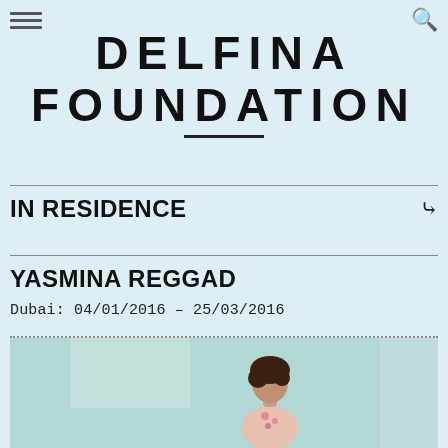Delfina Foundation — navigation header with hamburger menu and search icon
DELFINA FOUNDATION
IN RESIDENCE
YASMINA REGGAD
Dubai: 04/01/2016 – 25/03/2016
[Figure (photo): Photograph of Yasmina Reggad standing in a room with light teal/mint walls, wearing a floral top, with short dark curly hair.]